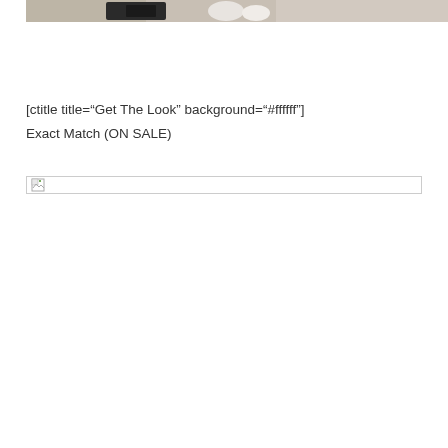[Figure (photo): Partial view of a lifestyle/home decor photo showing folded towels or linens, a dark camera or electronic device, and white rounded objects, cropped at the top of the page]
[ctitle title="Get The Look" background="#ffffff"]
Exact Match (ON SALE)
[Figure (photo): Broken/missing image placeholder shown as a small icon inside a bordered box]